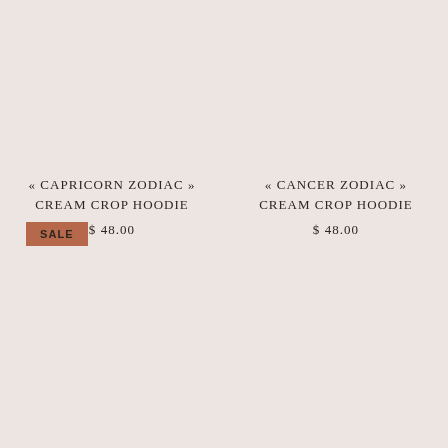« CAPRICORN ZODIAC » CREAM CROP HOODIE
$ 48.00
« CANCER ZODIAC » CREAM CROP HOODIE
$ 48.00
SALE
« EVIL EYE » UNISEX PULLOVER
« VIRGIN MARY / GUADALUPE » CREAM CROP HOODIE